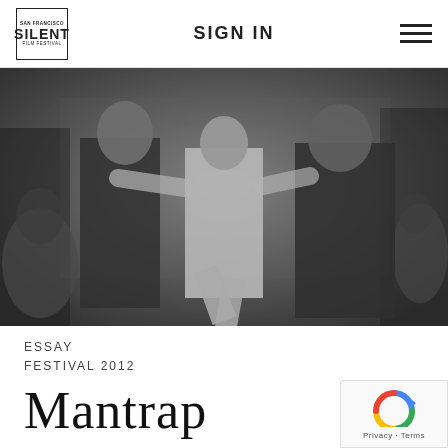SAN FRANCISCO SILENT FILM FESTIVAL — SIGN IN
[Figure (photo): Black and white still from a silent film showing a woman in a light dress with arms outstretched, flanked by two men, appearing to dance or kick in a rustic indoor setting.]
ESSAY
FESTIVAL 2012
Mantrap